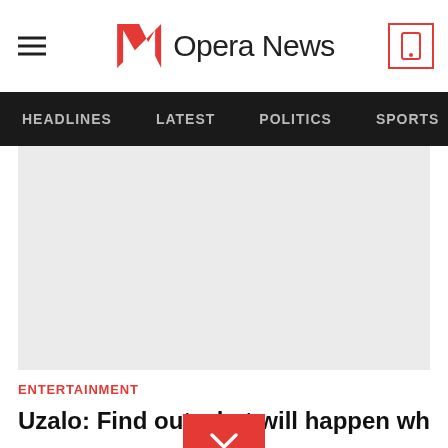Opera News
[Figure (screenshot): Opera News website header with hamburger menu, Opera News logo, and mobile app icon button]
[Figure (other): Navigation bar with menu items: HEADLINES, LATEST, POLITICS, SPORTS, and more]
[Figure (photo): Light grey placeholder image for article]
ENTERTAINMENT
Uzalo: Find out what will happen when Sbu